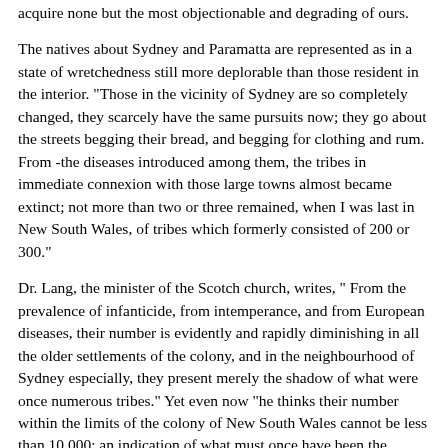acquire none but the most objectionable and degrading of ours.
The natives about Sydney and Paramatta are represented as in a state of wretchedness still more deplorable than those resident in the interior. "Those in the vicinity of Sydney are so completely changed, they scarcely have the same pursuits now; they go about the streets begging their bread, and begging for clothing and rum. From -the diseases introduced among them, the tribes in immediate connexion with those large towns almost became extinct; not more than two or three remained, when I was last in New South Wales, of tribes which formerly consisted of 200 or 300."
Dr. Lang, the minister of the Scotch church, writes, " From the prevalence of infanticide, from intemperance, and from European diseases, their number is evidently and rapidly diminishing in all the older settlements of the colony, and in the neighbourhood of Sydney especially, they present merely the shadow of what were once numerous tribes." Yet even now "he thinks their number within the limits of the colony of New South Wales cannot be less than 10,000: an indication of what must once have been the population, and what the destruction.
It is only," Dr. Lang observes, " through the influence of Christianity, brought to bear upon the natives by the zealous exertions of devoted missionaries, that the progress of extinction can be checked." The case of these people has not been wholly